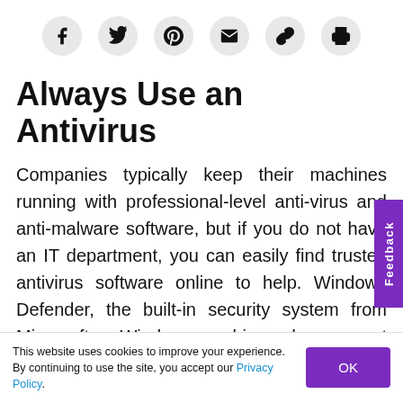[Social share icons: Facebook, Twitter, Pinterest, Email, Link, Print]
Always Use an Antivirus
Companies typically keep their machines running with professional-level anti-virus and anti-malware software, but if you do not have an IT department, you can easily find trusted antivirus software online to help. Windows Defender, the built-in security system from Microsoft on Windows machines, does a great job of keeping everything secure, but make sure it's enabled. Malwarebytes is another program that will clean your computer on demand, freeing
This website uses cookies to improve your experience. By continuing to use the site, you accept our Privacy Policy.